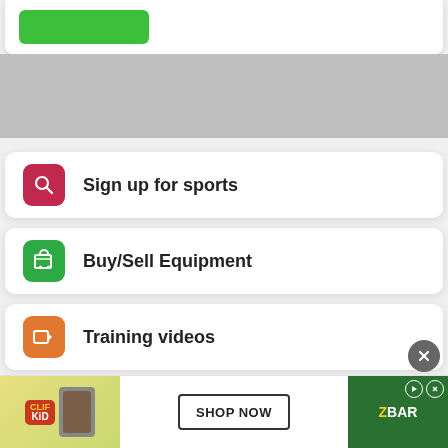[Figure (screenshot): Top white card with green button partially visible]
Sign up for sports
Buy/Sell Equipment
Training videos
New to sport guides
[Figure (infographic): Clif Kid ZBaR advertisement banner with Shop Now button]